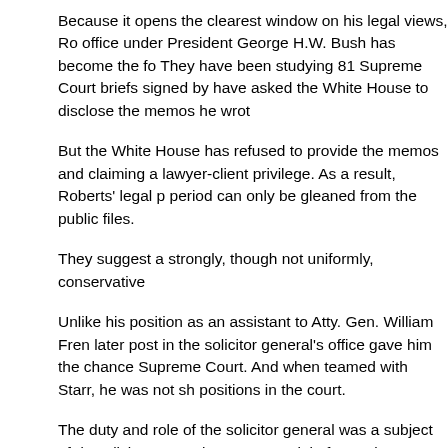Because it opens the clearest window on his legal views, Ro office under President George H.W. Bush has become the fo They have been studying 81 Supreme Court briefs signed by have asked the White House to disclose the memos he wrot
But the White House has refused to provide the memos and claiming a lawyer-client privilege. As a result, Roberts' legal p period can only be gleaned from the public files.
They suggest a strongly, though not uniformly, conservative
Unlike his position as an assistant to Atty. Gen. William Fren later post in the solicitor general's office gave him the chance Supreme Court. And when teamed with Starr, he was not sh positions in the court.
The duty and role of the solicitor general was a subject of de solicitor general, Rex Lee, quit in frustration, saying he was r policies at every turn …. I'm the solicitor general, not the par
The solicitors who followed Lee, including Charles Fried and the ideological views of the administration.
And in the Reagan and Bush administrations, that meant urg vs. Wade.